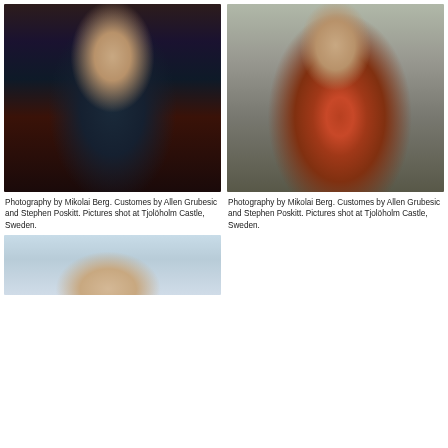[Figure (photo): Bearded bald man seated in ornate chair wearing navy suit in richly decorated interior room with plants and wallpaper. Photography by Mikolai Berg.]
Photography by Mikolai Berg. Customes by Allen Grubesic and Stephen Poskitt. Pictures shot at Tjolöholm Castle, Sweden.
[Figure (photo): Bearded bald man standing against stone wall wearing colorful red/blue plaid suit with hands on hips. Photography by Mikolai Berg.]
Photography by Mikolai Berg. Customes by Allen Grubesic and Stephen Poskitt. Pictures shot at Tjolöholm Castle, Sweden.
[Figure (photo): Partial view of a bald man looking upward against a light blue/white background.]